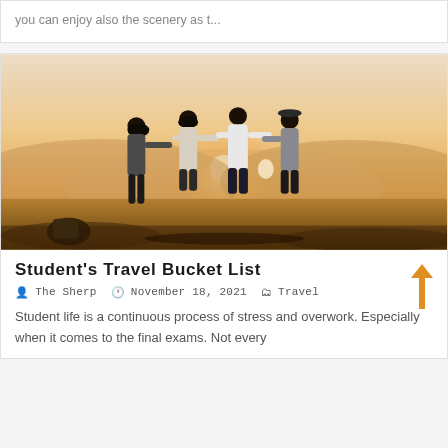you can enjoy also the scenery as t...
[Figure (photo): Four people standing arm in arm with their backs to the camera, watching a golden sunset over hilly landscape]
Student's Travel Bucket List
The Sherp   November 18, 2021   Travel
Student life is a continuous process of stress and overwork. Especially when it comes to the final exams. Not every